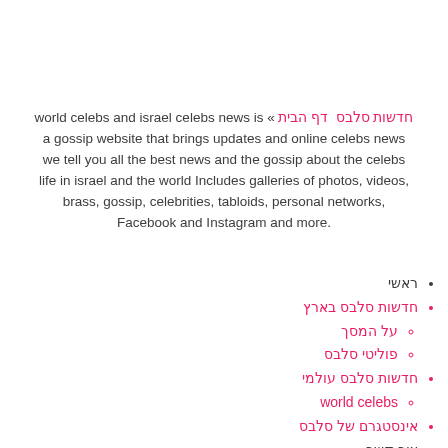world celebs and israel celebs news is « חדשות סלבס דף הבית a gossip website that brings updates and online celebs news we tell you all the best news and the gossip about the celebs life in israel and the world Includes galleries of photos, videos, brass, gossip, celebrities, tabloids, personal networks, Facebook and Instagram and more.
ראשי
חדשות סלבס בארץ
על המסך
פוליטי סלבס
חדשות סלבס עולמי
world celebs
אינסטגרם של סלבס
צור קשר